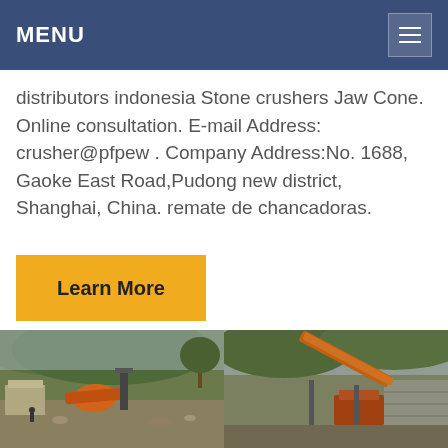MENU
distributors indonesia Stone crushers Jaw Cone. Online consultation. E-mail Address: crusher@pfpew . Company Address:No. 1688, Gaoke East Road,Pudong new district, Shanghai, China. remate de chancadoras.
Learn More
[Figure (photo): Two industrial quarry/stone crushing machinery site photos side by side at the bottom of the page]